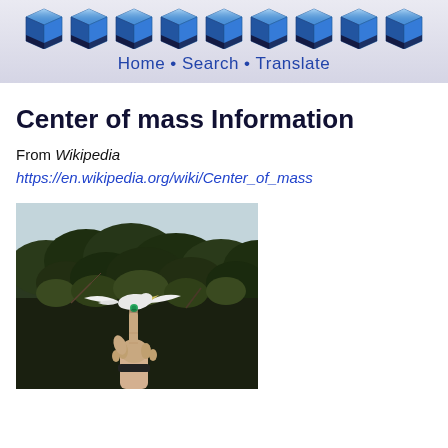Home • Search • Translate
Center of mass Information
From Wikipedia
https://en.wikipedia.org/wiki/Center_of_mass
[Figure (photo): A hand balancing a white bird-shaped object (possibly a toy or model) on one finger, with a green dot at the balance point. Background shows trees and sky.]